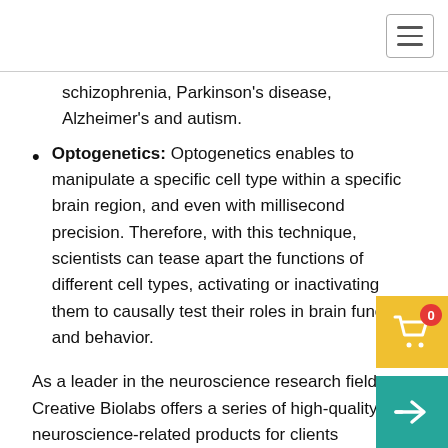schizophrenia, Parkinson’s disease, Alzheimer’s and autism.
Optogenetics: Optogenetics enables to manipulate a specific cell type within a specific brain region, and even with millisecond precision. Therefore, with this technique, scientists can tease apart the functions of different cell types, activating or inactivating them to causally test their roles in brain function and behavior.
As a leader in the neuroscience research field, Creative Biolabs offers a series of high-quality neuroscience-related products for clients worldwide. Following are different types of our products:
Neural antibodies